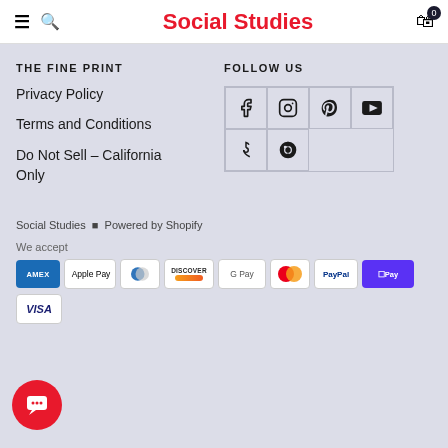Social Studies
THE FINE PRINT
Privacy Policy
Terms and Conditions
Do Not Sell – California Only
FOLLOW US
[Figure (infographic): Social media icon grid: Facebook, Instagram, Pinterest, YouTube, TikTok, Spotify]
Social Studies · Powered by Shopify
We accept
[Figure (infographic): Payment method badges: Amex, Apple Pay, Diners Club, Discover, Google Pay, Mastercard, PayPal, Shop Pay, Visa]